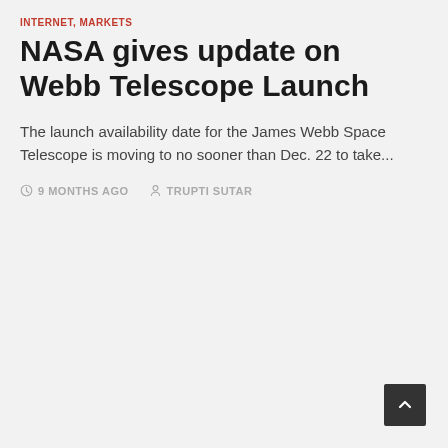INTERNET, MARKETS
NASA gives update on Webb Telescope Launch
The launch availability date for the James Webb Space Telescope is moving to no sooner than Dec. 22 to take...
9 MONTHS AGO   TRUPTI SUTAR